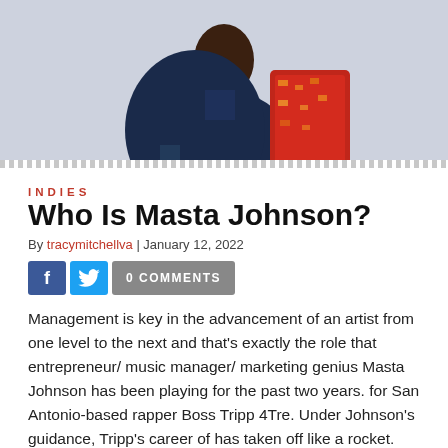[Figure (photo): Photo of a person (Masta Johnson) shown from behind/side, wearing a dark navy jacket and red patterned clothing, against a light grey/blue background. A grey rectangular element is visible at the top.]
INDIES
Who Is Masta Johnson?
By tracymitchellva | January 12, 2022
[Figure (infographic): Social sharing bar with Facebook button (blue, 'f'), Twitter button (blue, bird icon), and grey '0 COMMENTS' button]
Management is key in the advancement of an artist from one level to the next and that's exactly the role that entrepreneur/ music manager/ marketing genius Masta Johnson has been playing for the past two years. for San Antonio-based rapper Boss Tripp 4Tre. Under Johnson's guidance, Tripp's career of has taken off like a rocket. Featured on well-respected media outlets